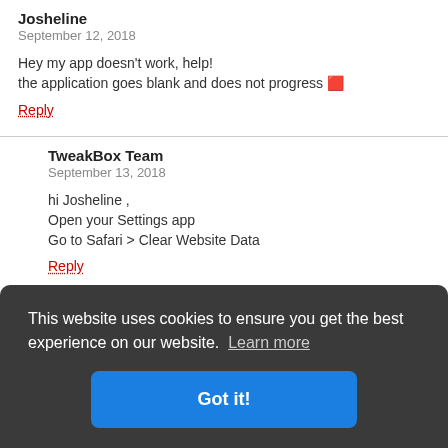Josheline
September 12, 2018

Hey my app doesn't work, help!
the application goes blank and does not progress 🔲
Reply
TweakBox Team
September 13, 2018

hi Josheline ,
Open your Settings app
Go to Safari > Clear Website Data
Reply
This website uses cookies to ensure you get the best experience on our website. Learn more
Got it!
September 22, 2018